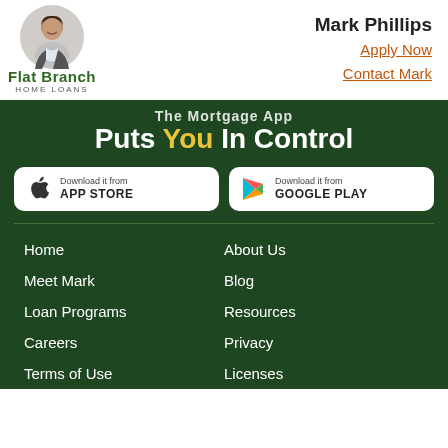[Figure (logo): Flat Branch Home Loans logo with photo of Mark Phillips]
Mark Phillips
Apply Now
Contact Mark
Puts You In Control
[Figure (infographic): Download it from APP STORE button]
[Figure (infographic): Download it from GOOGLE PLAY button]
Home
About Us
Meet Mark
Blog
Loan Programs
Resources
Careers
Privacy
Terms of Use
Licenses